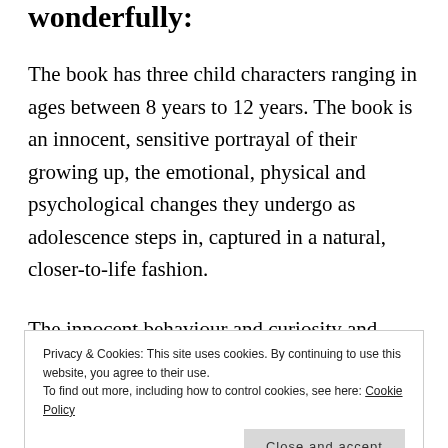wonderfully:
The book has three child characters ranging in ages between 8 years to 12 years. The book is an innocent, sensitive portrayal of their growing up, the emotional, physical and psychological changes they undergo as adolescence steps in, captured in a natural, closer-to-life fashion.
The innocent behaviour and curiosity and
Privacy & Cookies: This site uses cookies. By continuing to use this website, you agree to their use.
To find out more, including how to control cookies, see here: Cookie Policy
obvious practices while he preaches: